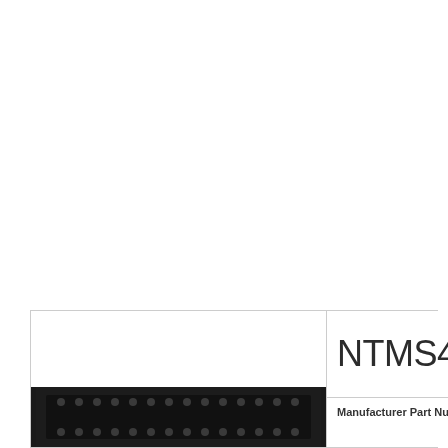[Figure (photo): Photo of an electronic component (integrated circuit / chip) shown at the bottom left of the page, dark rectangular component with visible pins/pads along its edges]
NTMS491
Manufacturer Part Num